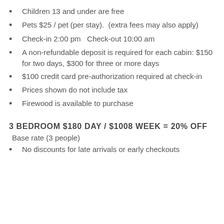Children 13 and under are free
Pets $25 / pet (per stay).  (extra fees may also apply)
Check-in 2:00 pm   Check-out 10:00 am
A non-refundable deposit is required for each cabin: $150 for two days, $300 for three or more days
$100 credit card pre-authorization required at check-in
Prices shown do not include tax
Firewood is available to purchase
3 BEDROOM $180 DAY / $1008 WEEK = 20% OFF
Base rate (3 people)
No discounts for late arrivals or early checkouts